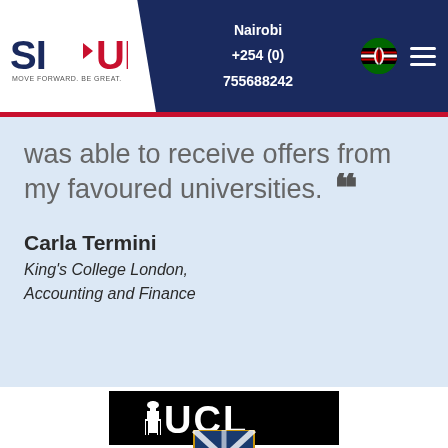SI-UK | Nairobi +254 (0) 755688242
was able to receive offers from my favoured universities.
Carla Termini
King's College London, Accounting and Finance
[Figure (logo): UCL (University College London) logo - white text on black background with small building icon]
[Figure (logo): University of St Andrews heraldic crest/shield logo]